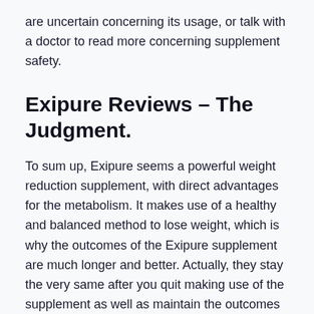are uncertain concerning its usage, or talk with a doctor to read more concerning supplement safety.
Exipure Reviews – The Judgment.
To sum up, Exipure seems a powerful weight reduction supplement, with direct advantages for the metabolism. It makes use of a healthy and balanced method to lose weight, which is why the outcomes of the Exipure supplement are much longer and better. Actually, they stay the very same after you quit making use of the supplement as well as maintain the outcomes with standard